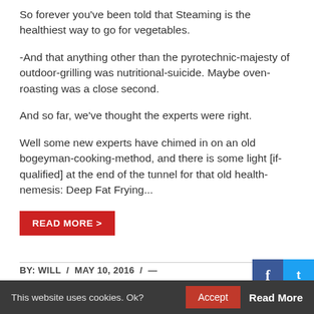So forever you've been told that Steaming is the healthiest way to go for vegetables.
-And that anything other than the pyrotechnic-majesty of outdoor-grilling was nutritional-suicide. Maybe oven-roasting was a close second.
And so far, we've thought the experts were right.
Well some new experts have chimed in on an old bogeyman-cooking-method, and there is some light [if-qualified] at the end of the tunnel for that old health-nemesis: Deep Fat Frying...
READ MORE >
BY: WILL / MAY 10, 2016 / —
This website uses cookies. Ok?  Accept  Read More